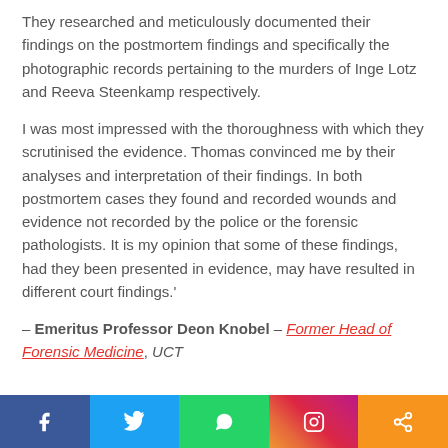They researched and meticulously documented their findings on the postmortem findings and specifically the photographic records pertaining to the murders of Inge Lotz and Reeva Steenkamp respectively.
I was most impressed with the thoroughness with which they scrutinised the evidence. Thomas convinced me by their analyses and interpretation of their findings. In both postmortem cases they found and recorded wounds and evidence not recorded by the police or the forensic pathologists. It is my opinion that some of these findings, had they been presented in evidence, may have resulted in different court findings.' – Emeritus Professor Deon Knobel – Former Head of Forensic Medicine, UCT